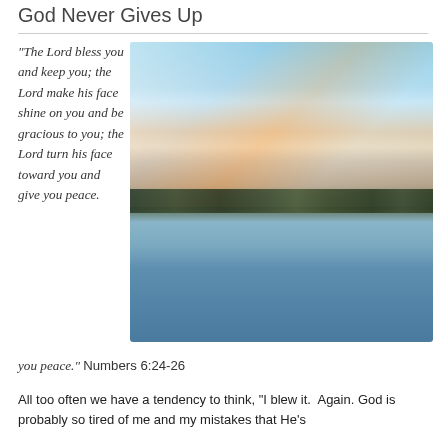God Never Gives Up
“The Lord bless you and keep you; the Lord make his face shine on you and be gracious to you; the Lord turn his face toward you and give you peace.” Numbers 6:24-26
[Figure (photo): A scenic lake or river at sunset with colorful sky featuring blue, pink and orange clouds reflected in the calm water, with a treeline silhouetted on the horizon.]
All too often we have a tendency to think, “I blew it. Again. God is probably so tired of me and my mistakes that He’s